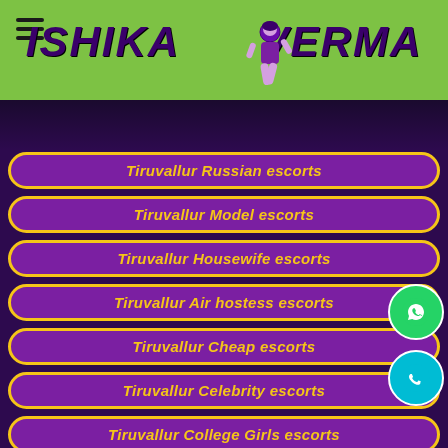[Figure (logo): Ishika Verma logo with green header, hamburger menu icon, stylized text 'ISHIKA VERMA' in purple italic, and illustrated female figure]
Tiruvallur Russian escorts
Tiruvallur Model escorts
Tiruvallur Housewife escorts
Tiruvallur Air hostess escorts
Tiruvallur Cheap escorts
Tiruvallur Celebrity escorts
Tiruvallur College Girls escorts
Tiruvallur russian Call Girls
Tiruvallur Dating Escorts